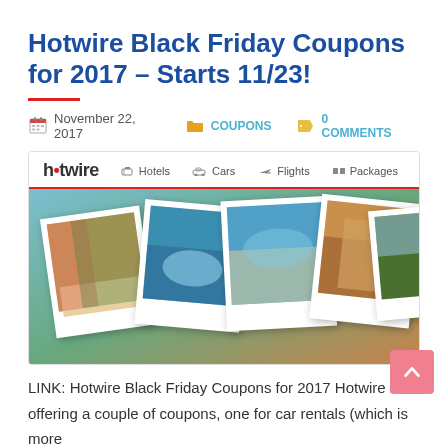Hotwire Black Friday Coupons for 2017 – Starts 11/23!
November 22, 2017   COUPONS   0 COMMENTS
[Figure (screenshot): Hotwire website screenshot showing logo and navigation (Hotels, Cars, Flights, Packages) with a photo collage of travel destinations below]
LINK: Hotwire Black Friday Coupons for 2017 Hotwire is offering a couple of coupons, one for car rentals (which is more